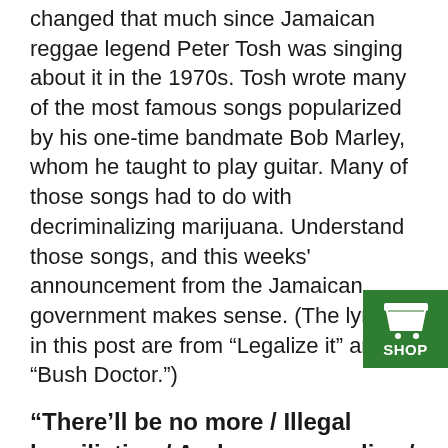changed that much since Jamaican reggae legend Peter Tosh was singing about it in the 1970s. Tosh wrote many of the most famous songs popularized by his one-time bandmate Bob Marley, whom he taught to play guitar. Many of those songs had to do with decriminalizing marijuana. Understand those songs, and this weeks' announcement from the Jamaican government makes sense. (The lyrics in this post are from “Legalize it” and “Bush Doctor.”)
“There’ll be no more / Illegal humiliation / And no more police / Interrogation”
Carrying marijuana in public still merits a fine in Jamaica, but possession of under 2 ounces won’t count as a criminal offense. Citizens will be able to grow up to 5 plants and smoke freely in their